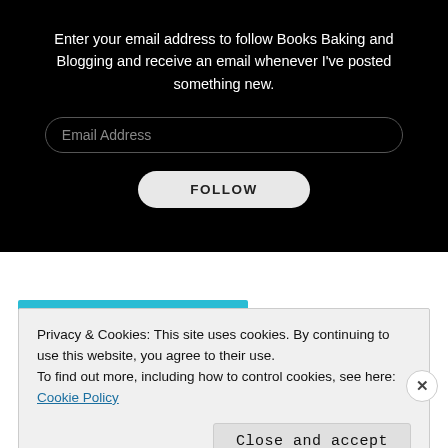Enter your email address to follow Books Baking and Blogging and receive an email whenever I've posted something new.
Email Address
FOLLOW
Join 3,005 other followers
Privacy & Cookies: This site uses cookies. By continuing to use this website, you agree to their use.
To find out more, including how to control cookies, see here: Cookie Policy
Close and accept